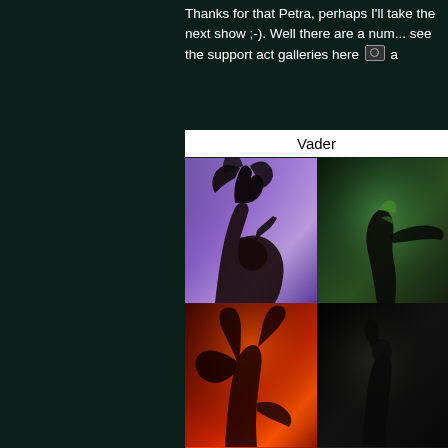Thanks for that Petra, perhaps I'll take the next show ;-). Well there are a num... see the support act galleries here 📷 a
Vader
[Figure (photo): Concert photo grid showing Vader band performance. Top left: guitarist with long black hair headbanging against purple/violet stage lighting background, playing guitar. Top right: performer with green/teal stage lighting, partially cropped. Bottom left: performer illuminated by intense red stage lighting with long hair. Bottom right: dark, dimly lit performer.]